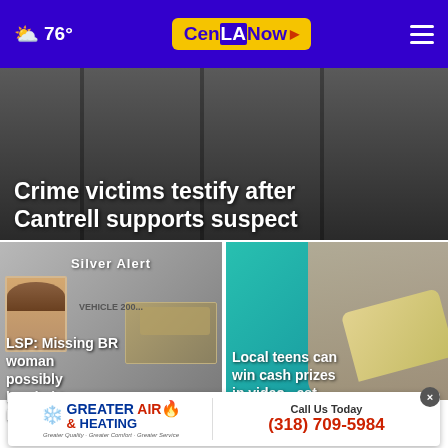76° CenLANow
Crime victims testify after Cantrell supports suspect
[Figure (photo): Silver Alert notice with photo of missing BR woman and vehicle image]
LSP: Missing BR woman possibly headed to Bas...
[Figure (photo): Woman holding fan of cash in front of teal background]
Local teens can win cash prizes in video contest
[Figure (infographic): Greater Air & Heating advertisement banner with phone number (318) 709-5984]